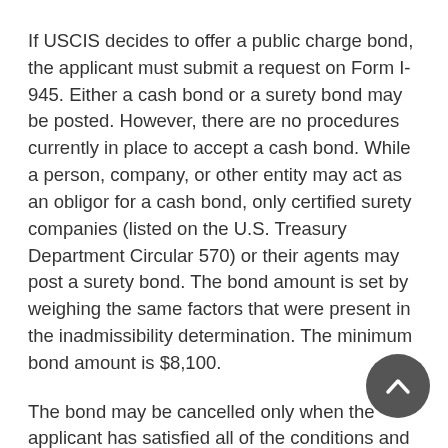If USCIS decides to offer a public charge bond, the applicant must submit a request on Form I-945. Either a cash bond or a surety bond may be posted. However, there are no procedures currently in place to accept a cash bond. While a person, company, or other entity may act as an obligor for a cash bond, only certified surety companies (listed on the U.S. Treasury Department Circular 570) or their agents may post a surety bond. The bond amount is set by weighing the same factors that were present in the inadmissibility determination. The minimum bond amount is $8,100.
The bond may be cancelled only when the applicant has satisfied all of the conditions and either naturalizes, permanently departs (abandons LPR status voluntarily or by operation of law and physically departs), dies, reaches the fifth anniversary of their adjustment of status, or obtains another status not subject to public charge.